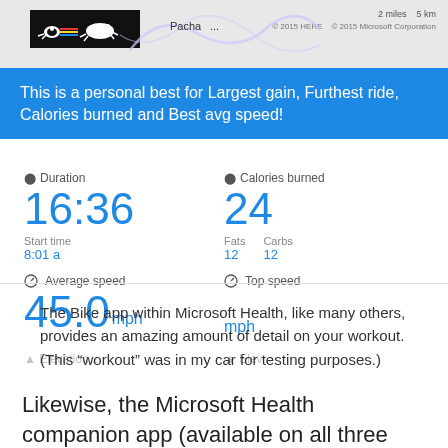[Figure (screenshot): Microsoft Health Bike app screenshot showing map, personal best banner, and workout stats including Duration 16:36, Calories burned 24 (Fats 12, Carbs 12), Average speed 45.0 mph, and Top speed.]
The Bike app within Microsoft Health, like many others, provides an amazing amount of detail on your workout. (This “workout” was in my car for testing purposes.)
Likewise, the Microsoft Health companion app (available on all three smartphone platforms) is a